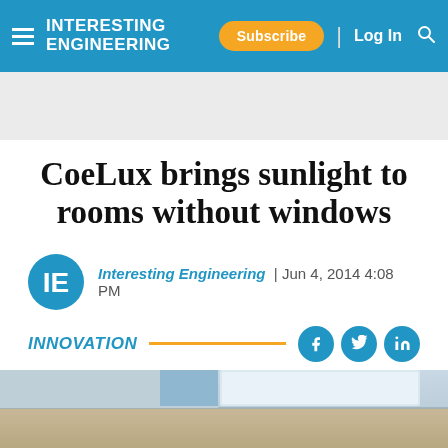INTERESTING ENGINEERING | Subscribe | Log In
CoeLux brings sunlight to rooms without windows
Interesting Engineering | Jun 4, 2014 4:08 PM
INNOVATION
[Figure (photo): Interior ceiling photo showing simulated skylight effect]